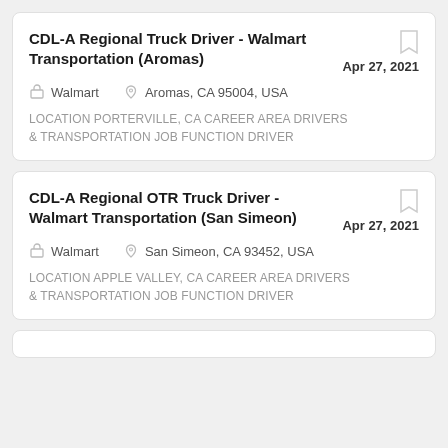CDL-A Regional Truck Driver - Walmart Transportation (Aromas)
Walmart | Aromas, CA 95004, USA | Apr 27, 2021
LOCATION PORTERVILLE, CA CAREER AREA Drivers & Transportation JOB FUNCTION Driver
CDL-A Regional OTR Truck Driver - Walmart Transportation (San Simeon)
Walmart | San Simeon, CA 93452, USA | Apr 27, 2021
LOCATION APPLE VALLEY, CA CAREER AREA Drivers & Transportation JOB FUNCTION Driver